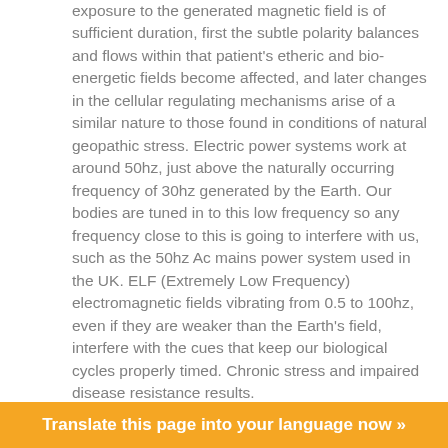exposure to the generated magnetic field is of sufficient duration, first the subtle polarity balances and flows within that patient's etheric and bio-energetic fields become affected, and later changes in the cellular regulating mechanisms arise of a similar nature to those found in conditions of natural geopathic stress. Electric power systems work at around 50hz, just above the naturally occurring frequency of 30hz generated by the Earth. Our bodies are tuned in to this low frequency so any frequency close to this is going to interfere with us, such as the 50hz Ac mains power system used in the UK. ELF (Extremely Low Frequency) electromagnetic fields vibrating from 0.5 to 100hz, even if they are weaker than the Earth's field, interfere with the cues that keep our biological cycles properly timed. Chronic stress and impaired disease resistance results.

The frequencies that ELF AC systems use are very close
Translate this page into your language now »